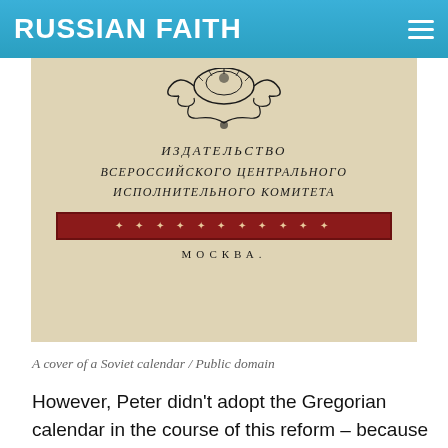RUSSIAN FAITH
[Figure (photo): A cover of a Soviet-era calendar with ornate Cyrillic text reading 'Издательство всероссийского центрального исполнительного комитета' and 'Москва', decorated with an ornamental border in red and a decorative engraved header element. The paper is aged and yellowed.]
A cover of a Soviet calendar / Public domain
However, Peter didn't adopt the Gregorian calendar in the course of this reform – because it was created by Pope Gregory XIII, a Catholic, and